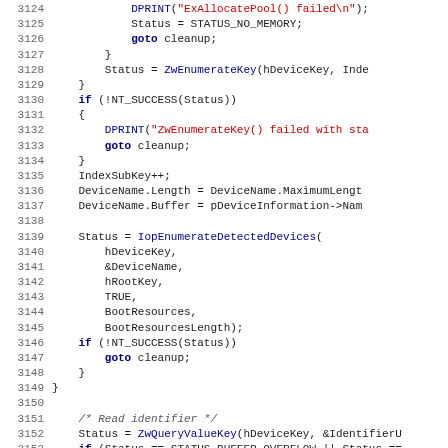Source code listing lines 3124-3155, C kernel driver code showing registry enumeration and device detection logic.